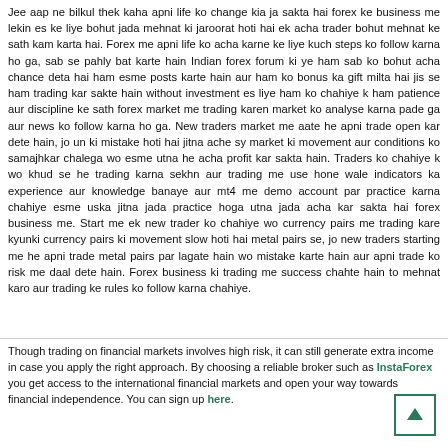Jee aap ne bilkul thek kaha apni life ko change kia ja sakta hai forex ke business me lekin es ke liye bohut jada mehnat ki jaroorat hoti hai ek acha trader bohut mehnat ke sath kam karta hai. Forex me apni life ko acha karne ke liye kuch steps ko follow karna ho ga, sab se pahly bat karte hain Indian forex forum ki ye ham sab ko bohut acha chance deta hai ham esme posts karte hain aur ham ko bonus ka gift milta hai jis se ham trading kar sakte hain without investment es liye ham ko chahiye k ham patience aur discipline ke sath forex market me trading karen market ko analyse karna pade ga aur news ko follow karna ho ga. New traders market me aate he apni trade open kar dete hain, jo un ki mistake hoti hai jitna ache sy market ki movement aur conditions ko samajhkar chalega wo esme utna he acha profit kar sakta hain. Traders ko chahiye k wo khud se he trading karna sekhn aur trading me use hone wale indicators ka experience aur knowledge banaye aur mt4 me demo account par practice karna chahiye esme uska jitna jada practice hoga utna jada acha kar sakta hai forex business me. Start me ek new trader ko chahiye wo currency pairs me trading kare kyunki currency pairs ki movement slow hoti hai metal pairs se, jo new traders starting me he apni trade metal pairs par lagate hain wo mistake karte hain aur apni trade ko risk me daal dete hain. Forex business ki trading me success chahte hain to mehnat karo aur trading ke rules ko follow karna chahiye.
Though trading on financial markets involves high risk, it can still generate extra income in case you apply the right approach. By choosing a reliable broker such as InstaForex you get access to the international financial markets and open your way towards financial independence. You can sign up here.